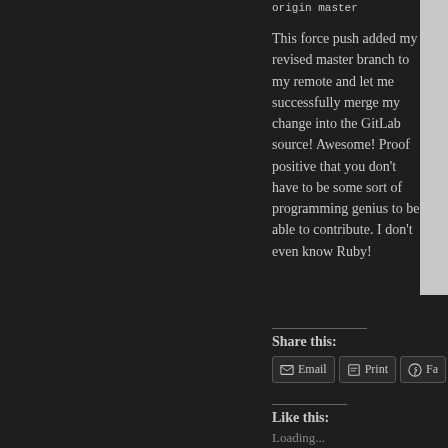origin master
This force push added my revised master branch to my remote and let me successfully merge my change into the GitLab source! Awesome! Proof positive that you don't have to be some sort of programming genius to be able to contribute. I don't even know Ruby!
Share this:
Email  Print  Fa
Like this:
Loading...